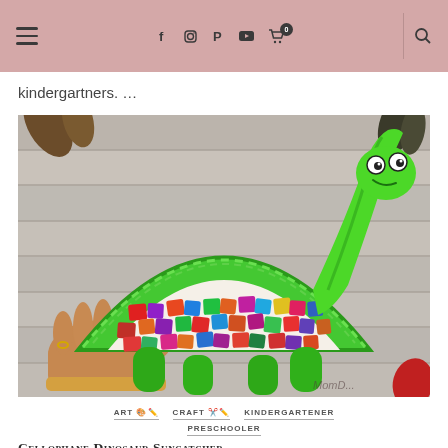Navigation bar with hamburger menu, social icons (f, Instagram, Pinterest, YouTube), cart with 0 badge, search icon
kindergartners. …
[Figure (photo): A hand holding a paper plate dinosaur craft (brachiosaurus shape) with a green paper plate body half, colorful tissue paper squares on the shell, green foam neck and head with googly eyes and a smile, green foam legs, on a wood-plank background. Watermark: 'MomD...' in bottom right.]
ART 🎨✏️  CRAFT ✂️✏️  KINDERGARTENER
PRESCHOOLER
Cellophane Dinosaur Suncatcher